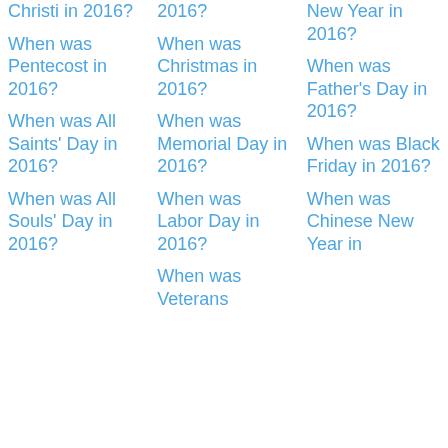Christi in 2016?
When was Pentecost in 2016?
When was All Saints' Day in 2016?
When was All Souls' Day in 2016?
When was Christmas in 2016?
When was Memorial Day in 2016?
When was Labor Day in 2016?
When was Veterans
New Year in 2016?
When was Father's Day in 2016?
When was Black Friday in 2016?
When was Chinese New Year in